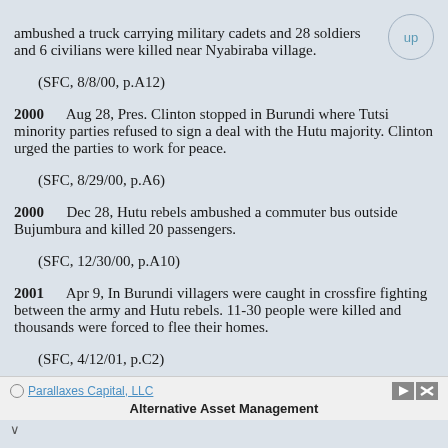ambushed a truck carrying military cadets and 28 soldiers and 6 civilians were killed near Nyabiraba village.
    (SFC, 8/8/00, p.A12)
2000    Aug 28, Pres. Clinton stopped in Burundi where Tutsi minority parties refused to sign a deal with the Hutu majority. Clinton urged the parties to work for peace.
    (SFC, 8/29/00, p.A6)
2000    Dec 28, Hutu rebels ambushed a commuter bus outside Bujumbura and killed 20 passengers.
    (SFC, 12/30/00, p.A10)
2001    Apr 9, In Burundi villagers were caught in crossfire fighting between the army and Hutu rebels. 11-30 people were killed and thousands were forced to flee their homes.
    (SFC, 4/12/01, p.C2)
Parallaxes Capital, LLC — Alternative Asset Management